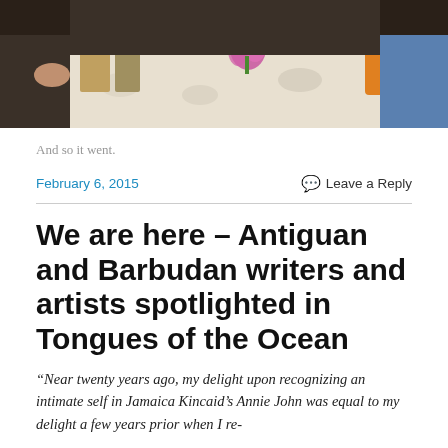[Figure (photo): Photograph of people at a table with flowers and items on it, partially cropped at top of page]
And so it went.
February 6, 2015    Leave a Reply
We are here – Antiguan and Barbudan writers and artists spotlighted in Tongues of the Ocean
“Near twenty years ago, my delight upon recognizing an intimate self in Jamaica Kincaid’s Annie John was equal to my delight a few years prior when I re-